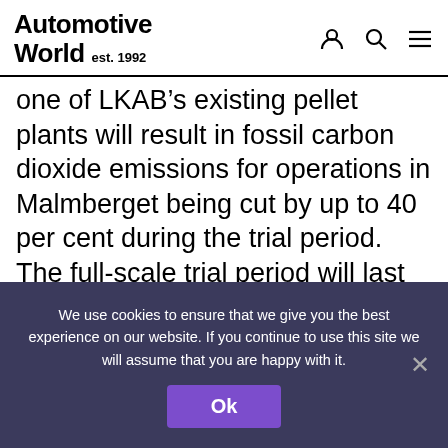Automotive World est. 1992
one of LKAB's existing pellet plants will result in fossil carbon dioxide emissions for operations in Malmberget being cut by up to 40 per cent during the trial period. The full-scale trial period will last until 2021 and is one part of HYBRIT's pilot phase, the long-term goal being to be first in the world with a fossil-free value chain from
We use cookies to ensure that we give you the best experience on our website. If you continue to use this site we will assume that you are happy with it.